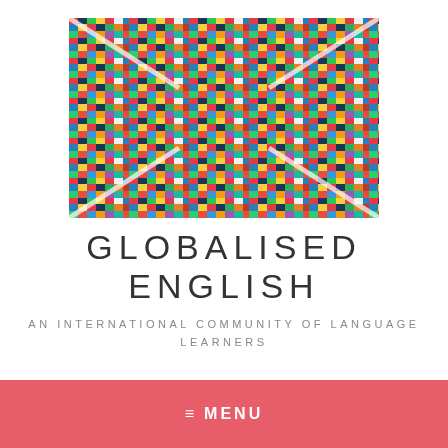[Figure (illustration): Union Jack (UK flag) composed entirely of small national flags from countries around the world, arranged in a mosaic pattern on white background]
GLOBALISED ENGLISH
AN INTERNATIONAL COMMUNITY OF LANGUAGE LEARNERS
≡  MENU